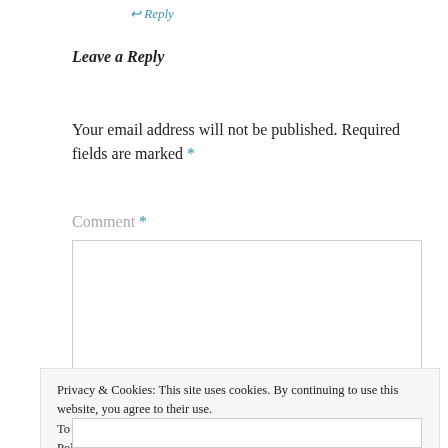↩ Reply
Leave a Reply
Your email address will not be published. Required fields are marked *
Comment *
Privacy & Cookies: This site uses cookies. By continuing to use this website, you agree to their use.
To find out more, including how to control cookies, see here: Cookie Policy
Close and accept